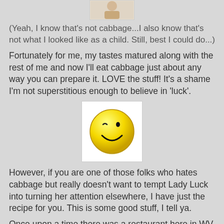[Figure (photo): Partial image of a child/person at the top of the page, cropped]
(Yeah, I know that's not cabbage...I also know that's not what I looked like as a child. Still, best I could do...)
Fortunately for me, my tastes matured along with the rest of me and now I'll eat cabbage just about any way you can prepare it. LOVE the stuff! It's a shame I'm not superstitious enough to believe in 'luck'.
[Figure (illustration): Yellow winking smiley face emoji on white background]
However, if you are one of those folks who hates cabbage but really doesn't want to tempt Lady Luck into turning her attention elsewhere, I have just the recipe for you. This is some good stuff, I tell ya.
Once upon a time there was a restaurant here in WV that